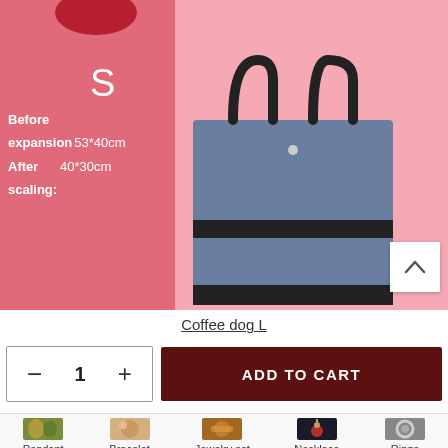[Figure (photo): Product listing screenshot showing a blue tote bag on a pink background. Left panel (darker pink) shows size 'S', with specs: Before expansion 53*40cm, After scaling: 40*30cm. Right panel shows the blue/grey tote bag with black handles. A white scroll-to-top button is visible at bottom right of the image.]
Coffee dog L
- 1 +
ADD TO CART
Pendant
Bracelet
Jewelry set
Necklace
Rings